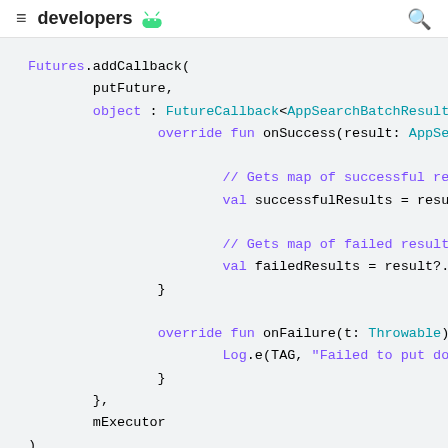developers
Futures.addCallback(
    putFuture,
    object : FutureCallback<AppSearchBatchResult<
        override fun onSuccess(result: AppSearchB

            // Gets map of successful results fro
            val successfulResults = result?.succe

            // Gets map of failed results from Id
            val failedResults = result?.failures
        }

        override fun onFailure(t: Throwable) {
            Log.e(TAG, "Failed to put documents."
        }
    },
    mExecutor
)